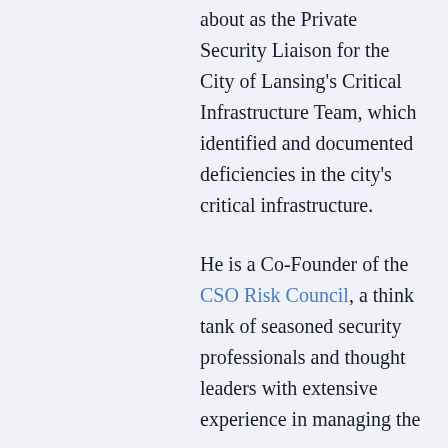about as the Private Security Liaison for the City of Lansing's Critical Infrastructure Team, which identified and documented deficiencies in the city's critical infrastructure.
He is a Co-Founder of the CSO Risk Council, a think tank of seasoned security professionals and thought leaders with extensive experience in managing the